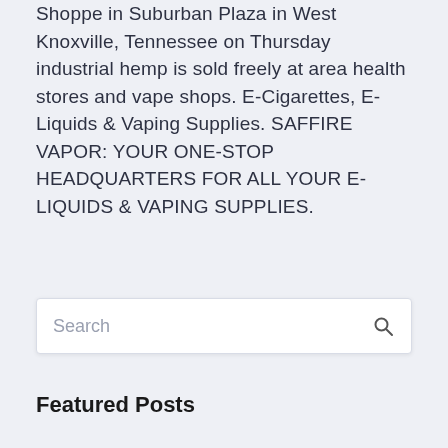Shoppe in Suburban Plaza in West Knoxville, Tennessee on Thursday industrial hemp is sold freely at area health stores and vape shops. E-Cigarettes, E-Liquids & Vaping Supplies. SAFFIRE VAPOR: YOUR ONE-STOP HEADQUARTERS FOR ALL YOUR E-LIQUIDS & VAPING SUPPLIES.
Search
Featured Posts